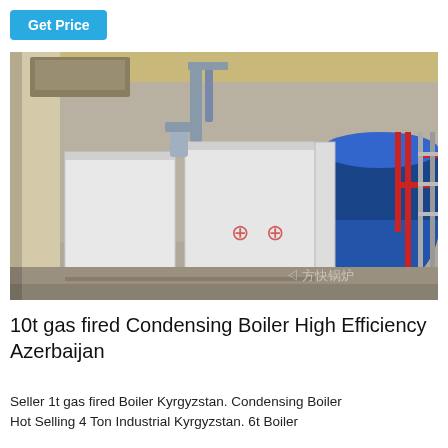Get Price
[Figure (photo): Industrial gas-fired condensing boilers installed in a large facility. White rectangular boiler units are visible in the foreground with a large blue cylindrical boiler drum in the background. Red pipework and steel framework visible. Chinese watermark text '方快锅炉' in lower right corner.]
10t gas fired Condensing Boiler High Efficiency Azerbaijan
Seller 1t gas fired Boiler Kyrgyzstan. Condensing Boiler Hot Selling 4 Ton Industrial Kyrgyzstan. 6t Boiler